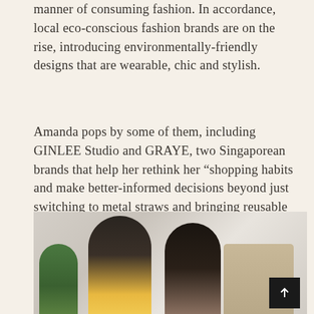manner of consuming fashion. In accordance, local eco-conscious fashion brands are on the rise, introducing environmentally-friendly designs that are wearable, chic and stylish.
Amanda pops by some of them, including GINLEE Studio and GRAYE, two Singaporean brands that help her rethink her “shopping habits and make better-informed decisions beyond just switching to metal straws and bringing reusable shopping bags”.
[Figure (photo): Two young Asian women in a bright studio or shop setting, one in a yellow top with a gold necklace smiling, the other with glasses leaning over. Green plant on the left, wooden/woven items visible on the right.]